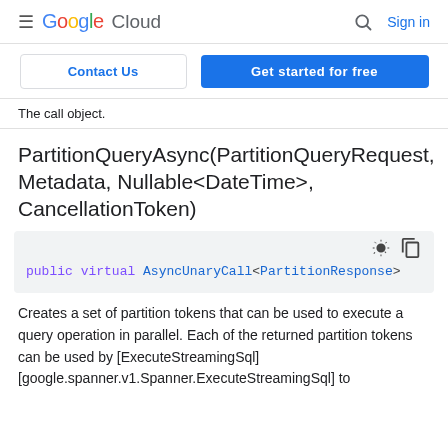≡ Google Cloud  🔍 Sign in
Contact Us | Get started for free
The call object.
PartitionQueryAsync(PartitionQueryRequest, Metadata, Nullable<DateTime>, CancellationToken)
public virtual AsyncUnaryCall<PartitionResponse>
Creates a set of partition tokens that can be used to execute a query operation in parallel. Each of the returned partition tokens can be used by [ExecuteStreamingSql] [google.spanner.v1.Spanner.ExecuteStreamingSql] to